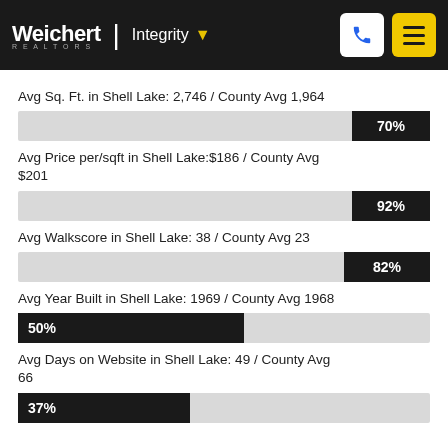Weichert REALTORS Integrity
Avg Sq. Ft. in Shell Lake: 2,746 / County Avg 1,964
[Figure (bar-chart): Avg Sq. Ft. in Shell Lake]
Avg Price per/sqft in Shell Lake:$186 / County Avg $201
[Figure (bar-chart): Avg Price per/sqft in Shell Lake]
Avg Walkscore in Shell Lake: 38 / County Avg 23
[Figure (bar-chart): Avg Walkscore in Shell Lake]
Avg Year Built in Shell Lake: 1969 / County Avg 1968
[Figure (bar-chart): Avg Year Built in Shell Lake]
Avg Days on Website in Shell Lake: 49 / County Avg 66
[Figure (bar-chart): Avg Days on Website in Shell Lake]